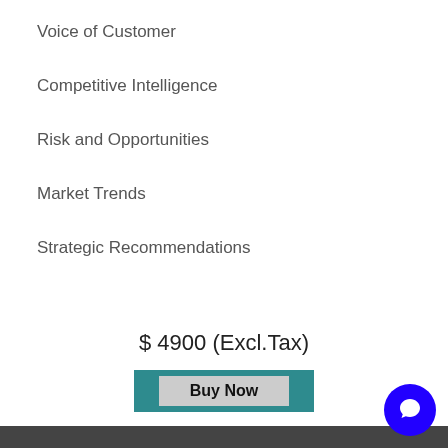Voice of Customer
Competitive Intelligence
Risk and Opportunities
Market Trends
Strategic Recommendations
$ 4900 (Excl.Tax)
Buy Now